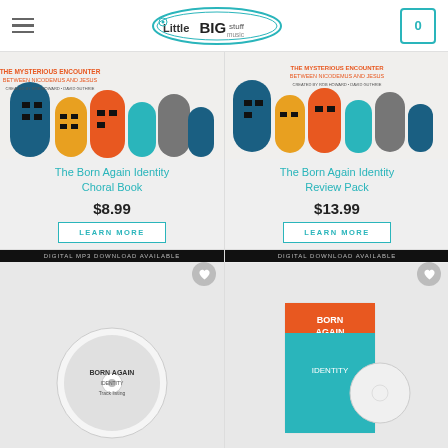Little Big Stuff Music — navigation header with logo and cart
[Figure (photo): Product image: The Born Again Identity Choral Book — illustrated cover with colorful building characters]
The Born Again Identity Choral Book
$8.99
LEARN MORE
[Figure (photo): Product image: The Born Again Identity Review Pack — box set with illustrated cover]
The Born Again Identity Review Pack
$13.99
LEARN MORE
[Figure (photo): Product with banner: DIGITAL MP3 DOWNLOAD AVAILABLE — CD product image visible at bottom]
[Figure (photo): Product with banner: DIGITAL DOWNLOAD AVAILABLE — Born Again box set product image visible at bottom]